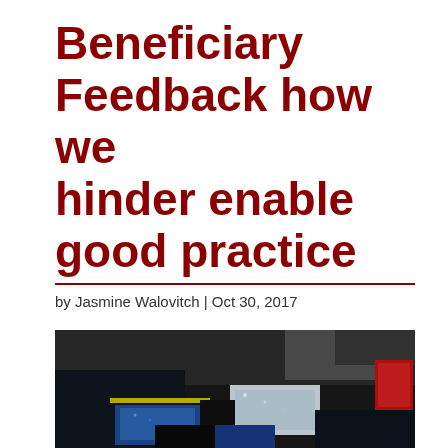Beneficiary Feedback how we hinder enable good practice
by Jasmine Walovitch | Oct 30, 2017
[Figure (photo): Abstract colorful painting with dark background featuring patches of white, blue, red, and yellow color blocks on a dark grey/black textured surface]